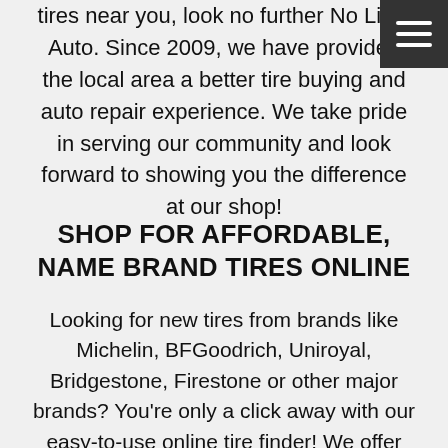tires near you, look no further No Limit Auto. Since 2009, we have provided the local area a better tire buying and auto repair experience. We take pride in serving our community and look forward to showing you the difference at our shop!
SHOP FOR AFFORDABLE, NAME BRAND TIRES ONLINE
Looking for new tires from brands like Michelin, BFGoodrich, Uniroyal, Bridgestone, Firestone or other major brands? You're only a click away with our easy-to-use online tire finder! We offer only the best tires for your